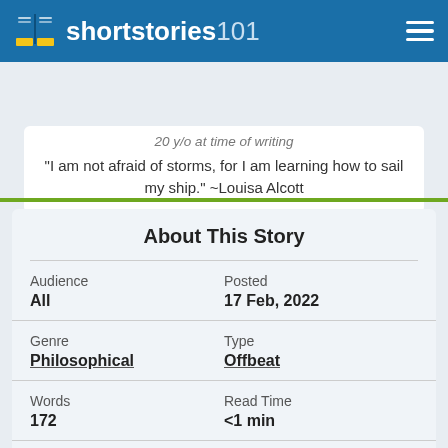shortstories101
20 y/o at time of writing
“I am not afraid of storms, for I am learning how to sail my ship.” ~Louisa Alcott
About This Story
| Field | Value |
| --- | --- |
| Audience | All |
| Posted | 17 Feb, 2022 |
| Genre | Philosophical |
| Type | Offbeat |
| Words | 172 |
| Read Time | <1 min |
| Favorites | 2 (View) |
| Recommend's | 2 (View) |